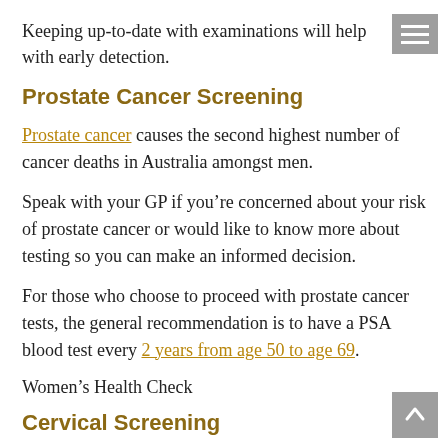Keeping up-to-date with examinations will help with early detection.
Prostate Cancer Screening
Prostate cancer causes the second highest number of cancer deaths in Australia amongst men.
Speak with your GP if you’re concerned about your risk of prostate cancer or would like to know more about testing so you can make an informed decision.
For those who choose to proceed with prostate cancer tests, the general recommendation is to have a PSA blood test every 2 years from age 50 to age 69.
Women’s Health Check
Cervical Screening